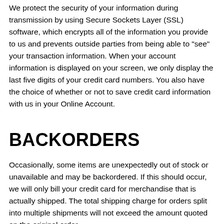We protect the security of your information during transmission by using Secure Sockets Layer (SSL) software, which encrypts all of the information you provide to us and prevents outside parties from being able to "see" your transaction information. When your account information is displayed on your screen, we only display the last five digits of your credit card numbers. You also have the choice of whether or not to save credit card information with us in your Online Account.
BACKORDERS
Occasionally, some items are unexpectedly out of stock or unavailable and may be backordered. If this should occur, we will only bill your credit card for merchandise that is actually shipped. The total shipping charge for orders split into multiple shipments will not exceed the amount quoted on the original order.
RETURNS